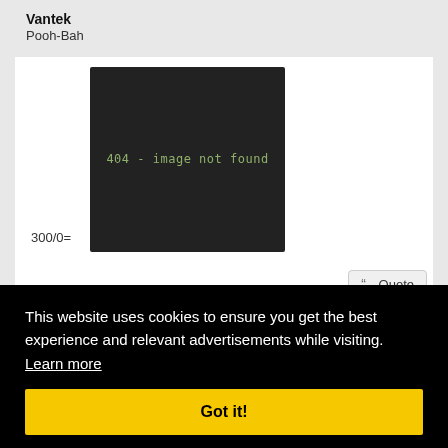Vantek
Pooh-Bah
[Figure (screenshot): Black rectangle showing error message: 404 - image not found in green monospace font]
300/0=
Quote
#1046
This website uses cookies to ensure you get the best experience and relevant advertisements while visiting. Learn more
Got it!